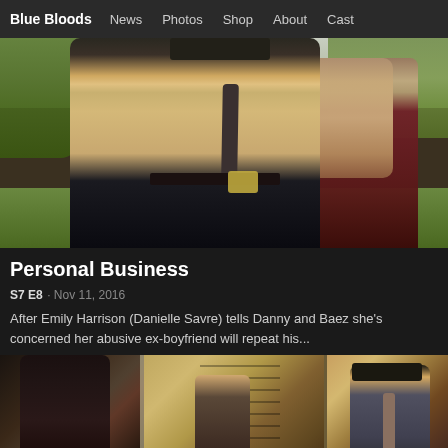Blue Bloods  News  Photos  Shop  About  Cast
[Figure (photo): Scene from Blue Bloods showing a detective in a tan trench coat with a badge and tie facing a woman with long blonde hair outdoors with green trees in background]
Personal Business
S7 E8  Nov 11, 2016
After Emily Harrison (Danielle Savre) tells Danny and Baez she's concerned her abusive ex-boyfriend will repeat his...
[Figure (photo): Scene from Blue Bloods showing multiple characters indoors, including a woman with dark hair seen from behind, two men in background, and a man in a suit and hat on the right near a door]